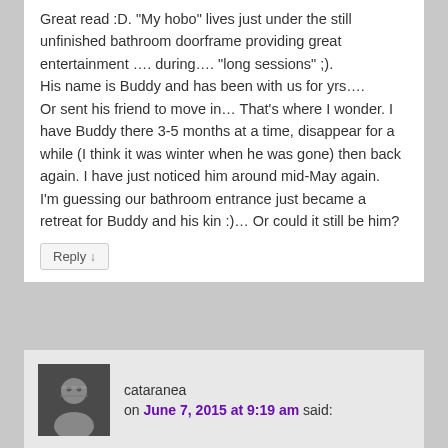Great read :D. “My hobo” lives just under the still unfinished bathroom doorframe providing great entertainment …. during…. “long sessions” ;). His name is Buddy and has been with us for yrs…. Or sent his friend to move in… That’s where I wonder. I have Buddy there 3-5 months at a time, disappear for a while (I think it was winter when he was gone) then back again. I have just noticed him around mid-May again. I’m guessing our bathroom entrance just became a retreat for Buddy and his kin :)… Or could it still be him?
Reply ↓
cataranea
on June 7, 2015 at 9:19 am said:
Depends on whether “Buddy” is male or female! But probably not the same spider year after year. Males will abandon their